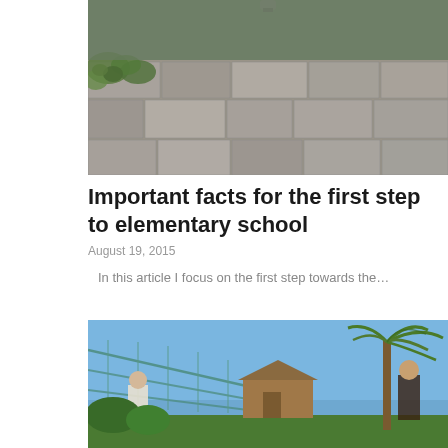[Figure (photo): Top portion of a photo showing cobblestone pavement with green plants/weeds growing in the cracks, and a partially visible object at the top center.]
Important facts for the first step to elementary school
August 19, 2015
In this article I focus on the first step towards the…
[Figure (photo): Outdoor photo showing children near a net/rope structure, a palm tree on the right, blue sky, and a wooden playhouse structure in the background.]